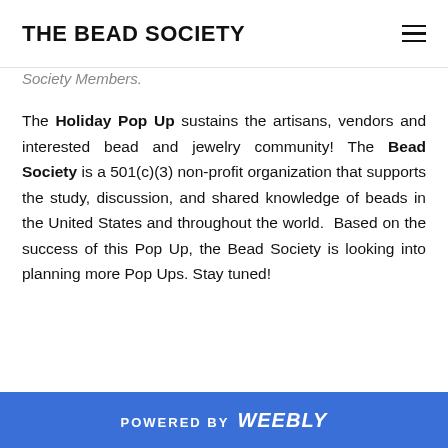THE BEAD SOCIETY
Society Members.
The Holiday Pop Up sustains the artisans, vendors and interested bead and jewelry community! The Bead Society is a 501(c)(3) non-profit organization that supports the study, discussion, and shared knowledge of beads in the United States and throughout the world.  Based on the success of this Pop Up, the Bead Society is looking into planning more Pop Ups. Stay tuned!
POWERED BY weebly